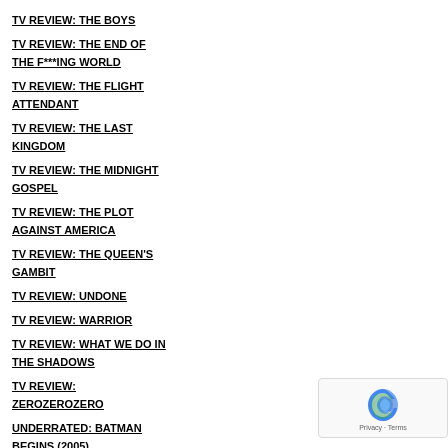TV REVIEW: THE BOYS
TV REVIEW: THE END OF THE F***ING WORLD
TV REVIEW: THE FLIGHT ATTENDANT
TV REVIEW: THE LAST KINGDOM
TV REVIEW: THE MIDNIGHT GOSPEL
TV REVIEW: THE PLOT AGAINST AMERICA
TV REVIEW: THE QUEEN'S GAMBIT
TV REVIEW: UNDONE
TV REVIEW: WARRIOR
TV REVIEW: WHAT WE DO IN THE SHADOWS
TV REVIEW: ZEROZEROZERO
UNDERRATED: BATMAN BEGINS (2005)